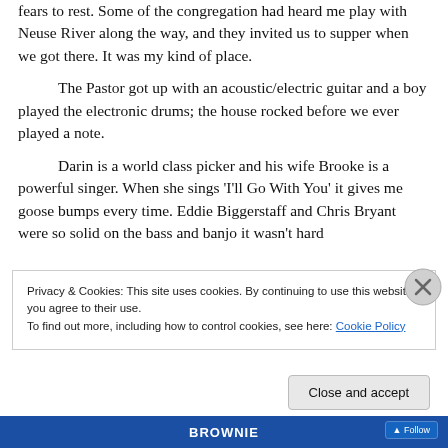fears to rest.  Some of the congregation had heard me play with Neuse River along the way, and they invited us to supper when we got there.  It was my kind of place.
The Pastor got up with an acoustic/electric guitar and a boy played the electronic drums; the house rocked before we ever played a note.
Darin is a world class picker and his wife Brooke is a powerful singer.  When she sings ‘I’ll Go With You’ it gives me goose bumps every time.  Eddie Biggerstaff and Chris Bryant were so solid on the bass and banjo it wasn’t hard
Privacy & Cookies: This site uses cookies. By continuing to use this website, you agree to their use.
To find out more, including how to control cookies, see here: Cookie Policy
Close and accept